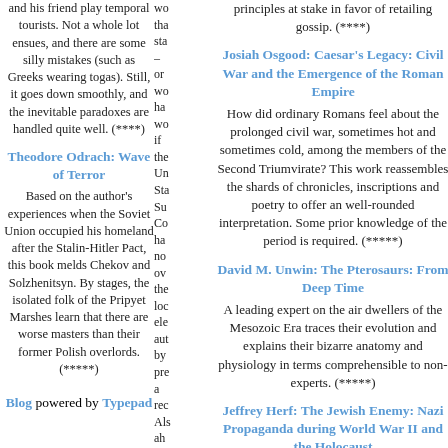and his friend play temporal tourists. Not a whole lot ensues, and there are some silly mistakes (such as Greeks wearing togas). Still, it goes down smoothly, and the inevitable paradoxes are handled quite well. (****)
Theodore Odrach: Wave of Terror
Based on the author's experiences when the Soviet Union occupied his homeland after the Stalin-Hitler Pact, this book melds Chekov and Solzhenitsyn. By stages, the isolated folk of the Pripyet Marshes learn that there are worse masters than their former Polish overlords. (*****)
Blog powered by Typepad
wo tha sta – or wo ha wo if the Un Sta Su Co ha no ov the loc ele aut by pre a rec Als ah un to the pu at lan bu pr
principles at stake in favor of retailing gossip. (****)
Josiah Osgood: Caesar's Legacy: Civil War and the Emergence of the Roman Empire
How did ordinary Romans feel about the prolonged civil war, sometimes hot and sometimes cold, among the members of the Second Triumvirate? This work reassembles the shards of chronicles, inscriptions and poetry to offer an well-rounded interpretation. Some prior knowledge of the period is required. (*****)
David M. Unwin: The Pterosaurs: From Deep Time
A leading expert on the air dwellers of the Mesozoic Era traces their evolution and explains their bizarre anatomy and physiology in terms comprehensible to non-experts. (*****)
Jeffrey Herf: The Jewish Enemy: Nazi Propaganda during World War II and the Holocaust
This detailed account of the Nazi regime's anti-Jewish propaganda argues that it